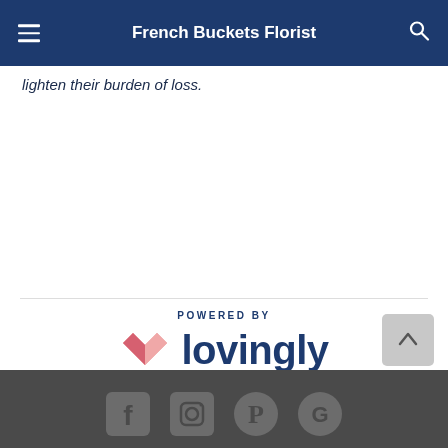French Buckets Florist
lighten their burden of loss.
[Figure (logo): Powered by Lovingly logo with heart icon and wordmark]
French Buckets Florist is a Lovingly Momentmaker in Laguna Beach, CA.
Buying local matters. Discover how Lovingly is committed to strengthening relationships by helping local florists market, sell, and deliver their floral designs online.
[Figure (other): Dark footer bar with social media icons (Facebook, Instagram, Pinterest, Google)]